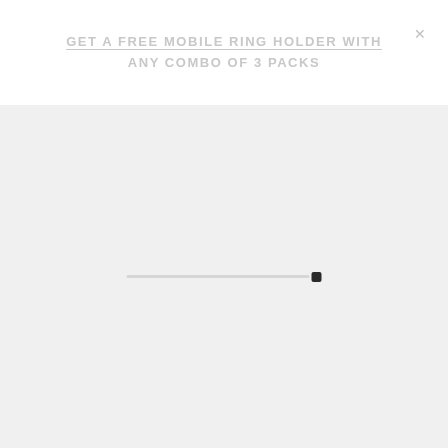GET A FREE MOBILE RING HOLDER WITH ANY COMBO OF 3 PACKS
[Figure (other): A horizontal progress bar/slider on a light gray background. The track is light gray and there is a small dark square thumb near the right end of the track.]